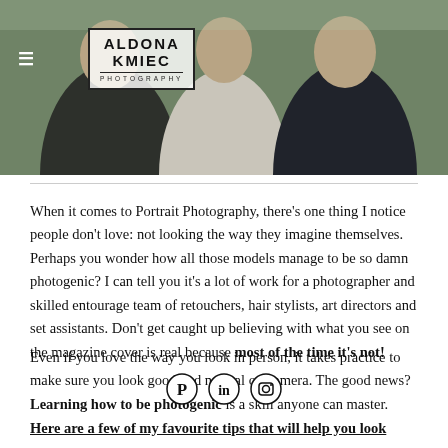[Figure (photo): Portrait photo of three people (two men and a woman) in professional attire outdoors with greenery background. Aldona Kmiec Photography logo overlaid top-left.]
When it comes to Portrait Photography, there's one thing I notice people don't love: not looking the way they imagine themselves. Perhaps you wonder how all those models manage to be so damn photogenic? I can tell you it's a lot of work for a photographer and skilled entourage team of retouchers, hair stylists, art directors and set assistants. Don't get caught up believing with what you see on the magazine cover is real because most of the time it's not!
Even if you love the way you look in person, it takes practice to make sure you look good and natural on camera. The good news? Learning how to be photogenic is a skill anyone can master.
Here are a few of my favourite tips that will help you look